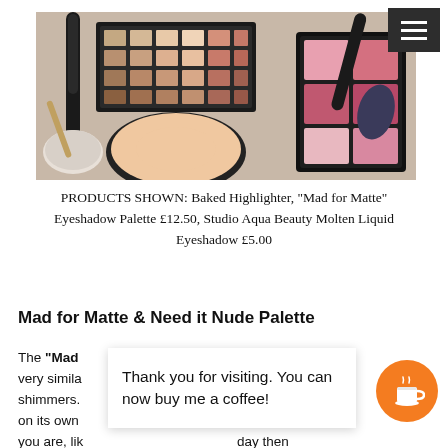[Figure (photo): Photo of makeup products including brushes, eyeshadow palette, and highlighter compact arranged on a flat surface]
PRODUCTS SHOWN: Baked Highlighter, “Mad for Matte” Eyeshadow Palette £12.50, Studio Aqua Beauty Molten Liquid Eyeshadow £5.00
Mad for Matte & Need it Nude Palette
The “Mad [for Matte” Eyeshadow palette, in my opi]nion, are very simila[r to the Need it Nude palette but] without any shimmers.[...] [b]ny b[eing able to use it] on its own [as well as with other shades...] I fe[el if] you are, lik[ely you...] day then the Need it Nude palette is a great all rounder especially
Thank you for visiting. You can now buy me a coffee!